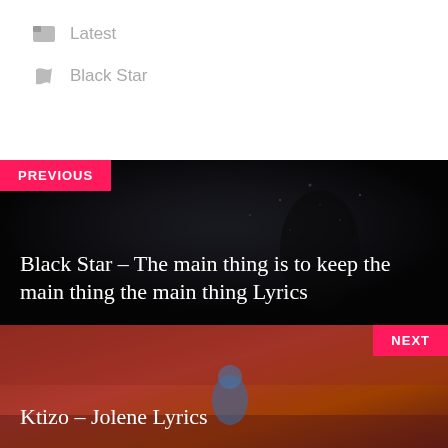Latest
Black Star
[Figure (photo): Dark atmospheric image with mythological figure, background for 'PREVIOUS' navigation block]
PREVIOUS
Black Star – The main thing is to keep the main thing the main thing Lyrics
[Figure (photo): Red-toned illustration with animated blue character, background for 'NEXT' navigation block]
NEXT
Ktizo – Jolene Lyrics